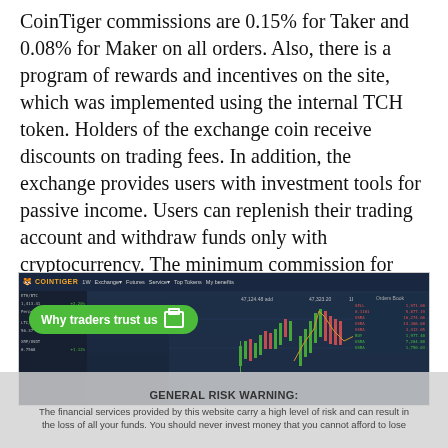CoinTiger commissions are 0.15% for Taker and 0.08% for Maker on all orders. Also, there is a program of rewards and incentives on the site, which was implemented using the internal TCH token. Holders of the exchange coin receive discounts on trading fees. In addition, the exchange provides users with investment tools for passive income. Users can replenish their trading account and withdraw funds only with cryptocurrency. The minimum commission for withdrawing funds is set, which is individual for each asset. On average, it ranges from 0.05% to 10%.
[Figure (screenshot): Screenshot of CoinTiger trading platform interface showing navigation bar, candlestick chart, order book, and trading pairs. Green pill button reads 'Why traders trust us' with a monitor icon.]
GENERAL RISK WARNING:
The financial services provided by this website carry a high level of risk and can result in the loss of all your funds. You should never invest money that you cannot afford to lose